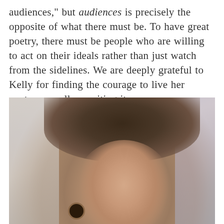audiences," but audiences is precisely the opposite of what there must be. To have great poetry, there must be people who are willing to act on their ideals rather than just watch from the sidelines. We are deeply grateful to Kelly for finding the courage to live her poetry as well as writing it.
[Figure (photo): Portrait photograph of a young woman with brown hair pulled back, wearing ear gauges and a lip piercing, looking slightly upward. Background is blurred outdoors.]